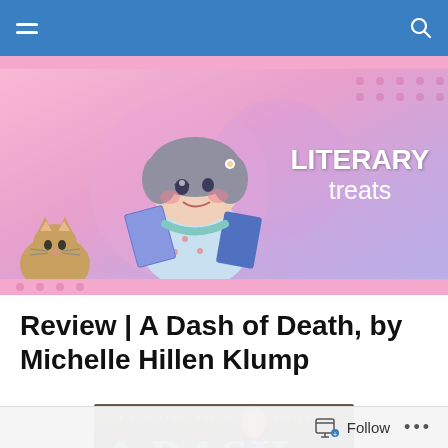Literary Treats blog navigation bar
[Figure (illustration): Literary Treats blog banner with illustrated girl reading a book surrounded by decorations, with text 'LITERARY treats' on the right side. Pink and purple gradient background.]
Review | A Dash of Death, by Michelle Hillen Klump
[Figure (photo): Book cover of 'A Dash of Death' - A Cocktails and Catering Mystery, showing large teal/cyan text 'A DASH' on a dark background with a hanging lantern.]
Follow